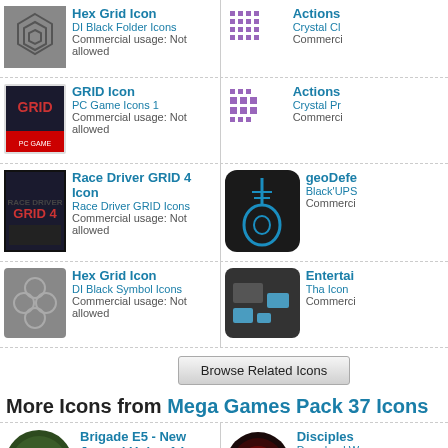Hex Grid Icon | DI Black Folder Icons | Commercial usage: Not allowed
Actions | Crystal Cl... | Commerci...
GRID Icon | PC Game Icons 1 | Commercial usage: Not allowed
Actions | Crystal Pr... | Commerci...
Race Driver GRID 4 Icon | Race Driver GRID Icons | Commercial usage: Not allowed
geoDefe... | Black'UPS... | Commerci...
Hex Grid Icon | DI Black Symbol Icons | Commercial usage: Not allowed
Entertain... | Tha Icon ... | Commerci...
[Figure (other): Browse Related Icons button]
More Icons from Mega Games Pack 37 Icons
Brigade E5 - New Jagged Union 1 Icon | Download Windows icon | Download PNG files
Disciples... | Download W... | Download ...